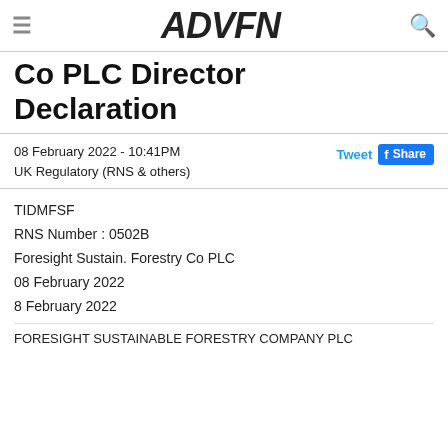ADVFN
Co PLC Director Declaration
08 February 2022 - 10:41PM
UK Regulatory (RNS & others)
TIDMFSF
RNS Number : 0502B
Foresight Sustain. Forestry Co PLC
08 February 2022
8 February 2022
FORESIGHT SUSTAINABLE FORESTRY COMPANY PLC